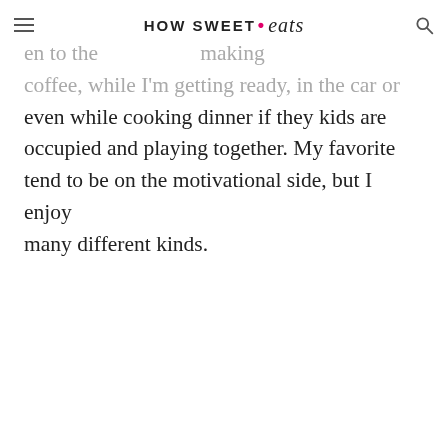HOW SWEET eats
en to the making coffee, while I'm getting ready, in the car or even while cooking dinner if they kids are occupied and playing together. My favorite tend to be on the motivational side, but I enjoy many different kinds.